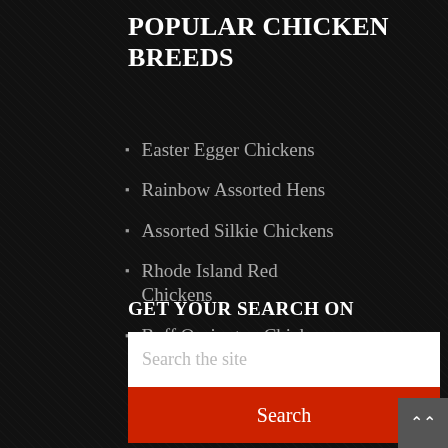POPULAR CHICKEN BREEDS
Easter Egger Chickens
Rainbow Assorted Hens
Assorted Silkie Chickens
Rhode Island Red Chickens
Buff Orpington Chickens
GET YOUR SEARCH ON
Search the site
Search